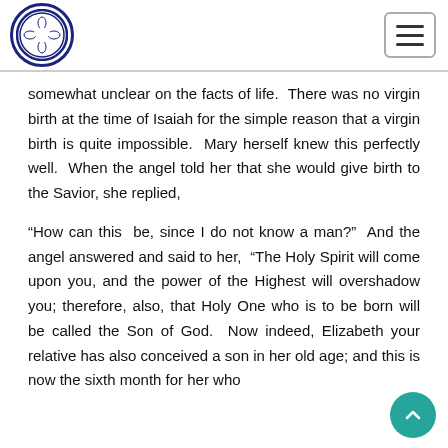[Figure (logo): Lutheran church circular logo with cross and rose motif, dark blue border]
[Figure (other): Hamburger menu button icon with three horizontal lines]
somewhat unclear on the facts of life.  There was no virgin birth at the time of Isaiah for the simple reason that a virgin birth is quite impossible.  Mary herself knew this perfectly well.  When the angel told her that she would give birth to the Savior, she replied,
“How can this be, since I do not know a man?”  And the angel answered and said to her,  “The Holy Spirit will come upon you, and the power of the Highest will overshadow you; therefore, also, that Holy One who is to be born will be called the Son of God.  Now indeed, Elizabeth your relative has also conceived a son in her old age; and this is now the sixth month for her who